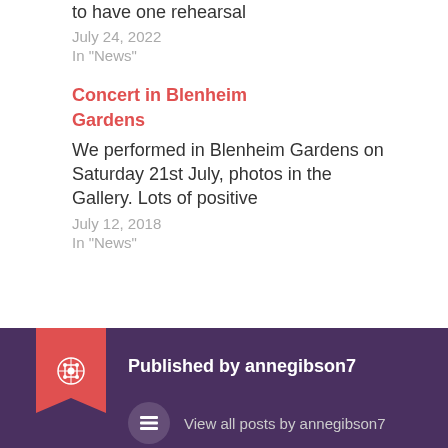to have one rehearsal
July 24, 2022
In "News"
Concert in Blenheim Gardens
We performed in Blenheim Gardens on Saturday 21st July, photos in the Gallery. Lots of positive
July 12, 2018
In "News"
Published by annegibson7
View all posts by annegibson7